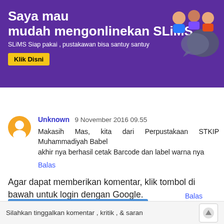[Figure (illustration): Purple banner advertisement for SLiMS library system. Large white bold text 'Saya mau mudah mengonlinekan SLiMS', subtitle 'SLiMS Siap pakai , pustakawan bisa santuy santuy', yellow button 'Klik Disni', and cartoon character icons on right.]
Balas
Unknown 9 November 2016 09.55
Makasih Mas, kita dari Perpustakaan STKIP Muhammadiyah Babel
akhir nya berhasil cetak Barcode dan label warna nya
Balas
Agar dapat memberikan komentar, klik tombol di bawah untuk login dengan Google.
LOGIN DENGAN GOOGLE
Silahkan tinggalkan komentar , kritik , & saran